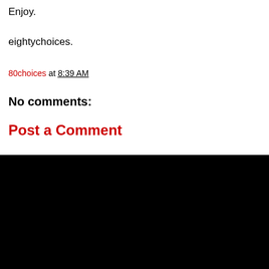Enjoy.
eightychoices.
80choices at 8:39 AM
No comments:
Post a Comment
< Home >
View web version
80choices